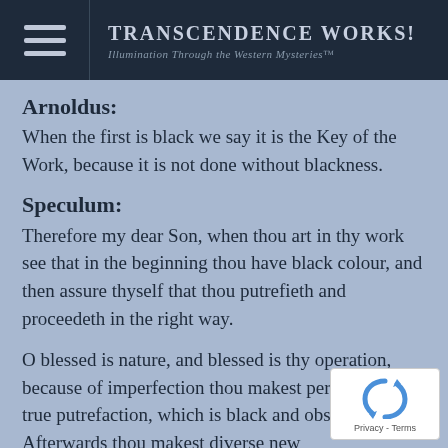Transcendence Works! Illumination Through the Western Mysteries™
Arnoldus:
When the first is black we say it is the Key of the Work, because it is not done without blackness.
Speculum:
Therefore my dear Son, when thou art in thy work see that in the beginning thou have black colour, and then assure thyself that thou putrefieth and proceedeth in the right way.
O blessed is nature, and blessed is thy operation, because of imperfection thou makest perfect with true putrefaction, which is black and obscure. Afterwards thou makest diverse new